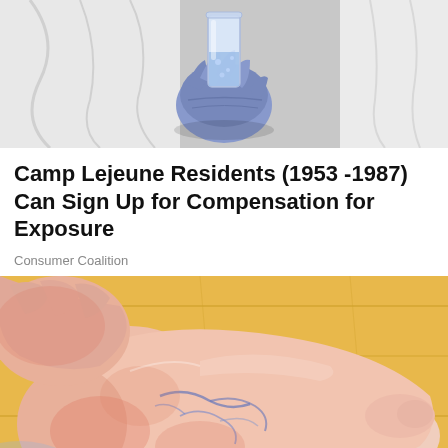[Figure (photo): Close-up of a scientist or lab worker in a white coat and blue gloves holding a glass beaker or test tube with liquid]
Camp Lejeune Residents (1953 -1987) Can Sign Up for Compensation for Exposure
Consumer Coalition
[Figure (photo): Close-up of a human foot and ankle resting on a wooden surface, showing visible veins and reddish discoloration, being held by a hand]